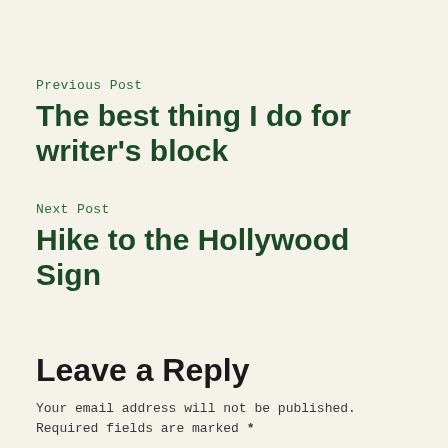Previous Post
The best thing I do for writer's block
Next Post
Hike to the Hollywood Sign
Leave a Reply
Your email address will not be published. Required fields are marked *